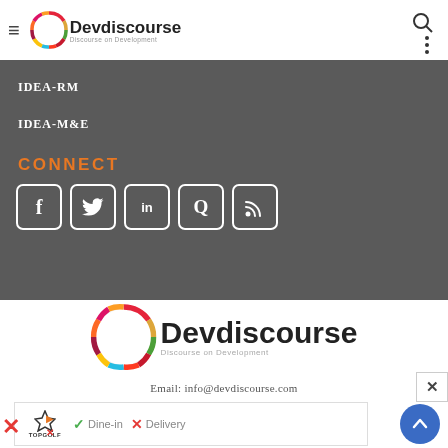[Figure (logo): Devdiscourse logo in top navigation bar with hamburger menu icon, search icon, and three-dot menu icon]
IDEA-RM
IDEA-M&E
CONNECT
[Figure (infographic): Social media icon buttons: Facebook (f), Twitter bird, LinkedIn (in), Quora (Q), RSS feed icons in white rounded square borders]
[Figure (logo): Devdiscourse logo centered - circular colorful ring with Devdiscourse text and Discourse on Development subtitle]
Email: info@devdiscourse.com
[Figure (infographic): Advertisement banner showing TopGolf logo with Dine-in checkmark and Delivery X marks, with back-to-top blue circular button]